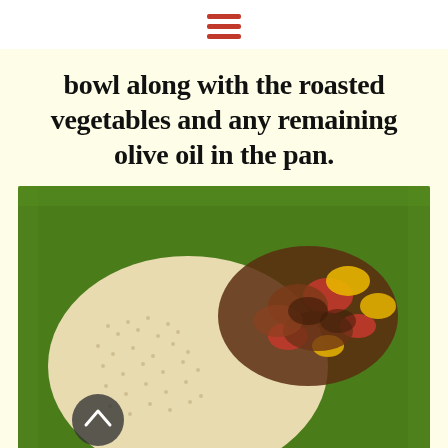☰ (hamburger menu icon)
bowl along with the roasted vegetables and any remaining olive oil in the pan.
[Figure (photo): A green bowl containing couscous or bulgur grain on the left side and roasted mixed vegetables (red onions, red peppers, yellow peppers) on the right side, with a scroll-up arrow button overlay in the lower left]